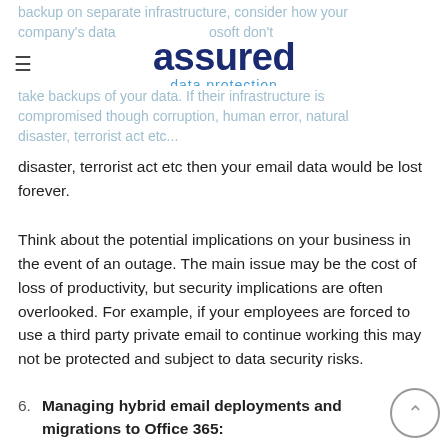assured data protection
backup on separate infrastructure, consider how your company's data and Microsoft don't take backups of your data. If their infrastructure is compromised though corruption, human error, natural disaster, terrorist act etc then your email data would be lost forever.
Think about the potential implications on your business in the event of an outage. The main issue may be the cost of loss of productivity, but security implications are often overlooked. For example, if your employees are forced to use a third party private email to continue working this may not be protected and subject to data security risks.
6. Managing hybrid email deployments and migrations to Office 365: